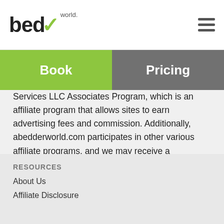bedr world. [logo] [hamburger menu]
Book | Pricing
Services LLC Associates Program, which is an affiliate program that allows sites to earn advertising fees and commission. Additionally, abedderworld.com participates in other various affiliate programs, and we may receive a commission if a purchase is made through our links on the site.
RESOURCES
About Us
Affiliate Disclosure